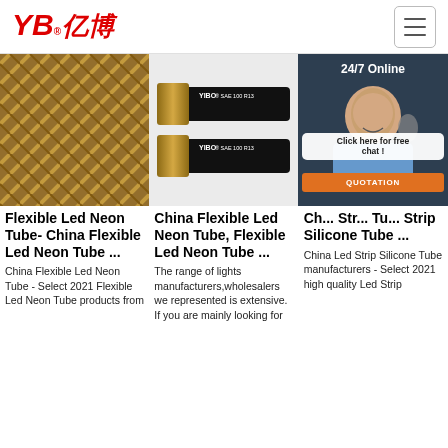[Figure (logo): YB Yibo brand logo in red with Chinese characters]
[Figure (photo): Close-up of gold/bronze braided flexible hose material]
[Figure (photo): Two black rubber hoses labeled YIBO SAE 100 R13 with gold ends on white background]
[Figure (photo): 24/7 Online customer service chat panel with woman wearing headset, click here for free chat button, and QUOTATION button]
Flexible Led Neon Tube- China Flexible Led Neon Tube ...
China Flexible Led Neon Tube - Select 2021 Flexible Led Neon Tube products from
China Flexible Led Neon Tube, Flexible Led Neon Tube ...
The range of lights manufacturers,wholesalers we represented is extensive. If you are mainly looking for
Ch... Str... Tu... Strip Silicone Tube ...
China Led Strip Silicone Tube manufacturers - Select 2021 high quality Led Strip